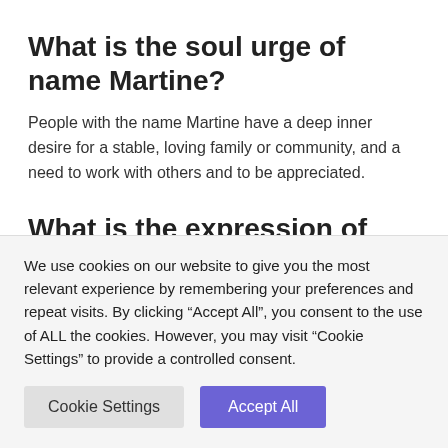What is the soul urge of name Martine?
People with the name Martine have a deep inner desire for a stable, loving family or community, and a need to work with others and to be appreciated.
What is the expression of name Martine?
People with the name Martine are competent, practical, and often
We use cookies on our website to give you the most relevant experience by remembering your preferences and repeat visits. By clicking “Accept All”, you consent to the use of ALL the cookies. However, you may visit "Cookie Settings" to provide a controlled consent.
Cookie Settings | Accept All